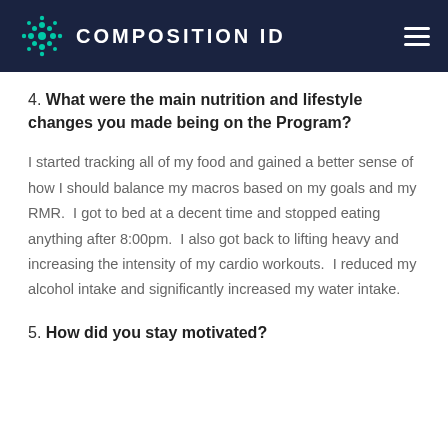COMPOSITION ID
4. What were the main nutrition and lifestyle changes you made being on the Program?
I started tracking all of my food and gained a better sense of how I should balance my macros based on my goals and my RMR.  I got to bed at a decent time and stopped eating anything after 8:00pm.  I also got back to lifting heavy and increasing the intensity of my cardio workouts.  I reduced my alcohol intake and significantly increased my water intake.
5. How did you stay motivated?